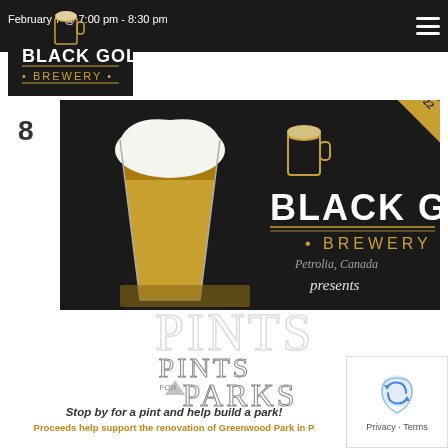February 7 @ 7:00 pm - 8:30 pm
Monday Night Trivia
[Figure (logo): Black Gold Brewery logo — gold and white text on dark background with beer mug icon]
8
[Figure (photo): Promotional image for Pints for Parks event at Black Gold Brewery, Petrolia Canada. Shows a pint of beer being poured, Black Gold Brewery logo, and text 'presents PINTS FOR PARKS'. Corner banner reads TUES FEBRUARY 8 and 22.]
Stop by for a pint and help build a park!
Proceeds help support the renovation of Greenwood Park in P